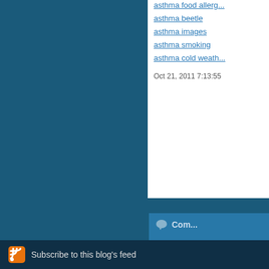asthma food allerg...
asthma beetle
asthma images
asthma smoking
asthma cold weath...
Oct 21, 2011 7:13:55
Com...
The comments to t...
Pi
genetic asthma ch... clinics brooklyn trea... asthma remedy ho...
Subscribe to this blog's feed